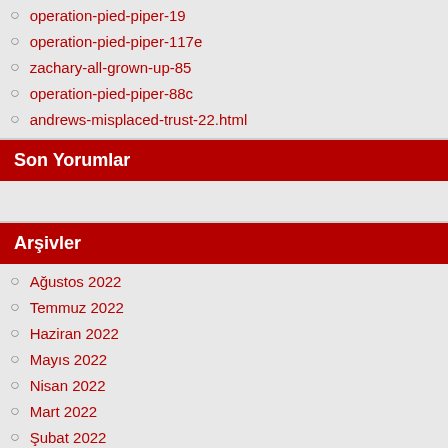operation-pied-piper-19
operation-pied-piper-117e
zachary-all-grown-up-85
operation-pied-piper-88c
andrews-misplaced-trust-22.html
Son Yorumlar
Arşivler
Ağustos 2022
Temmuz 2022
Haziran 2022
Mayıs 2022
Nisan 2022
Mart 2022
Şubat 2022